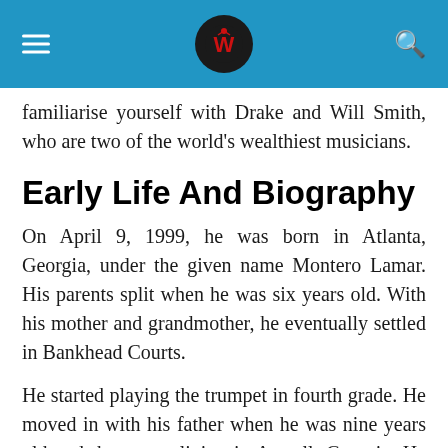≡  [logo]  🔍
familiarise yourself with Drake and Will Smith, who are two of the world's wealthiest musicians.
Early Life And Biography
On April 9, 1999, he was born in Atlanta, Georgia, under the given name Montero Lamar. His parents split when he was six years old. With his mother and grandmother, he eventually settled in Bankhead Courts.
He started playing the trumpet in fourth grade. He moved in with his father when he was nine years old and they were living in Austell, Georgia. He developed a lifelong obsession with